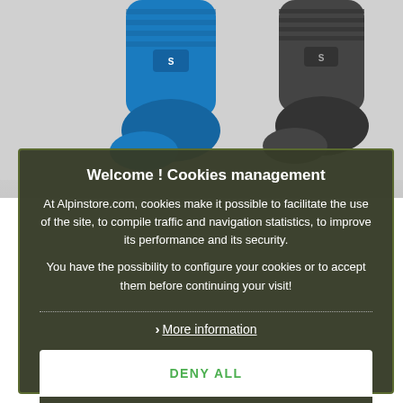[Figure (photo): Background photo of sports socks — blue sock on left, dark grey sock on right, partially visible behind the cookie consent modal overlay.]
Welcome ! Cookies management
At Alpinstore.com, cookies make it possible to facilitate the use of the site, to compile traffic and navigation statistics, to improve its performance and its security.
You have the possibility to configure your cookies or to accept them before continuing your visit!
> More information
DENY ALL
ACCEPT CURRENT SELECTION
ACCEPT ALL